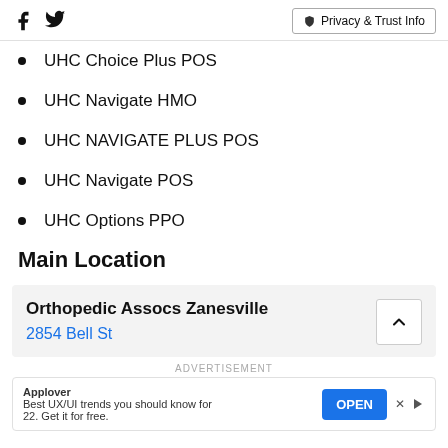Social icons and Privacy & Trust Info button
UHC Choice Plus POS
UHC Navigate HMO
UHC NAVIGATE PLUS POS
UHC Navigate POS
UHC Options PPO
Main Location
Orthopedic Assocs Zanesville
2854 Bell St
ADVERTISEMENT
Applover
Best UX/UI trends you should know for 22. Get it for free. OPEN